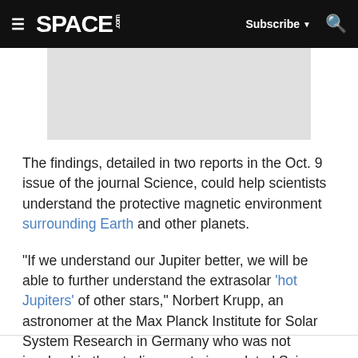SPACE.com — Subscribe | Search
[Figure (photo): Gray placeholder image of Jupiter or related space imagery]
The findings, detailed in two reports in the Oct. 9 issue of the journal Science, could help scientists understand the protective magnetic environment surrounding Earth and other planets.
"If we understand our Jupiter better, we will be able to further understand the extrasolar 'hot Jupiters' of other stars," Norbert Krupp, an astronomer at the Max Planck Institute for Solar System Research in Germany who was not involved in the studies, wrote in a related Science article.